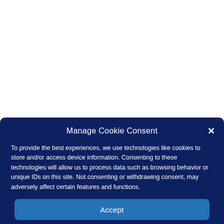Manage Cookie Consent
To provide the best experiences, we use technologies like cookies to store and/or access device information. Consenting to these technologies will allow us to process data such as browsing behavior or unique IDs on this site. Not consenting or withdrawing consent, may adversely affect certain features and functions.
Accept